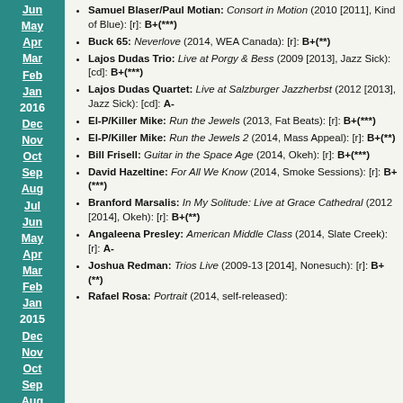Jun
May
Apr
Mar
Feb
Jan
2016
Dec
Nov
Oct
Sep
Aug
Jul
Jun
May
Apr
Mar
Feb
Jan
2015
Dec
Nov
Oct
Sep
Aug
Samuel Blaser/Paul Motian: Consort in Motion (2010 [2011], Kind of Blue): [r]: B+(***)
Buck 65: Neverlove (2014, WEA Canada): [r]: B+(**)
Lajos Dudas Trio: Live at Porgy & Bess (2009 [2013], Jazz Sick): [cd]: B+(***)
Lajos Dudas Quartet: Live at Salzburger Jazzherbst (2012 [2013], Jazz Sick): [cd]: A-
El-P/Killer Mike: Run the Jewels (2013, Fat Beats): [r]: B+(***)
El-P/Killer Mike: Run the Jewels 2 (2014, Mass Appeal): [r]: B+(**)
Bill Frisell: Guitar in the Space Age (2014, Okeh): [r]: B+(***)
David Hazeltine: For All We Know (2014, Smoke Sessions): [r]: B+(***)
Branford Marsalis: In My Solitude: Live at Grace Cathedral (2012 [2014], Okeh): [r]: B+(**)
Angaleena Presley: American Middle Class (2014, Slate Creek): [r]: A-
Joshua Redman: Trios Live (2009-13 [2014], Nonesuch): [r]: B+(**)
Rafael Rosa: Portrait (2014, self-released):